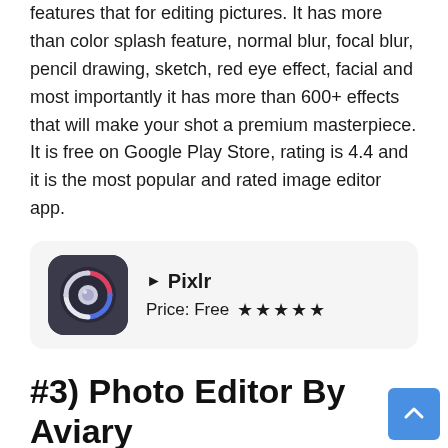features that for editing pictures. It has more than color splash feature, normal blur, focal blur, pencil drawing, sketch, red eye effect, facial and most importantly it has more than 600+ effects that will make your shot a premium masterpiece. It is free on Google Play Store, rating is 4.4 and it is the most popular and rated image editor app.
[Figure (screenshot): App listing card for Pixlr with dark circular icon featuring camera lens design, app name 'Pixlr', price 'Free', and 5-star rating]
#3) Photo Editor By Aviary